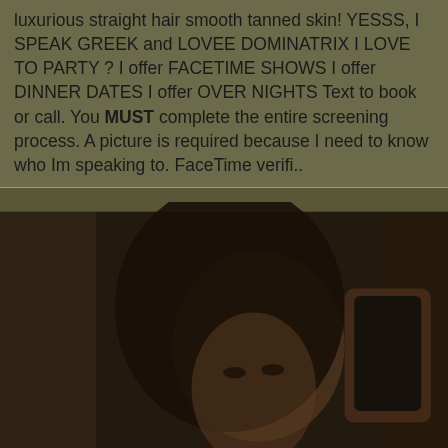luxurious straight hair smooth tanned skin! YESSS, I SPEAK GREEK and LOVEE DOMINATRIX I LOVE TO PARTY ? I offer FACETIME SHOWS I offer DINNER DATES I offer OVER NIGHTS Text to book or call. You MUST complete the entire screening process. A picture is required because I need to know who Im speaking to. FaceTime verifi..
[Figure (photo): A dark, low-light mirror selfie of a woman with long dark hair wearing a red top, taken indoors.]